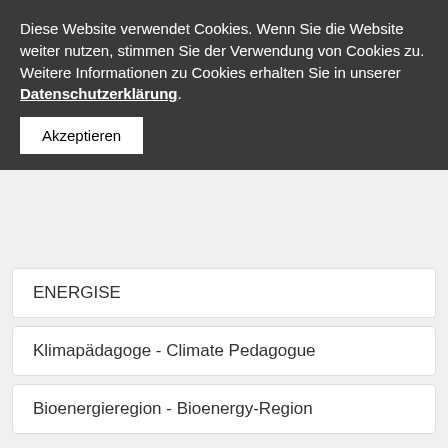Diese Website verwendet Cookies. Wenn Sie die Website weiter nutzen, stimmen Sie der Verwendung von Cookies zu. Weitere Informationen zu Cookies erhalten Sie in unserer Datenschutzerklärung.
Akzeptieren
ENERGISE
Klimapädagoge - Climate Pedagogue
Bioenergieregion - Bioenergy-Region
RegioStars Award finalist 2017 with SEAP_Alps
The Alpine Space projecte SEAP_Alps is finalist of the European Commission Award for good practices and innovative projects in regional development in the "Energy Union: Climate action" category